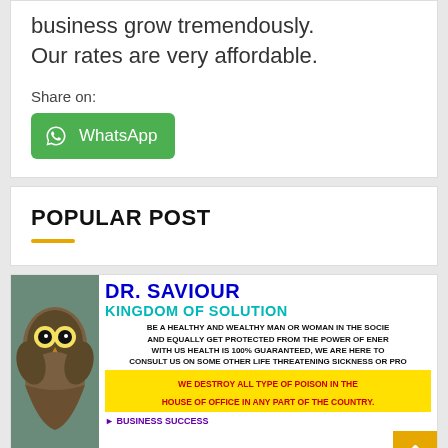business grow tremendously. Our rates are very affordable.
Share on:
[Figure (logo): WhatsApp share button - green rounded rectangle with WhatsApp logo and text 'WhatsApp']
POPULAR POST
[Figure (infographic): Dr. Saviour Kingdom of Solution advertisement banner. Shows an owl image on left, bold blue text 'DR. SAVIOUR', cyan text 'KINGDOM OF SOLUTION', black body text about health and protection, yellow strip with red text 'WE DESTROY ALL TYPE OF POISON IN THE HOUSE OF OFFICE IN ANY PART OF THE COUNTRY.', and purple text 'BUSINESS SUCCESS'.]